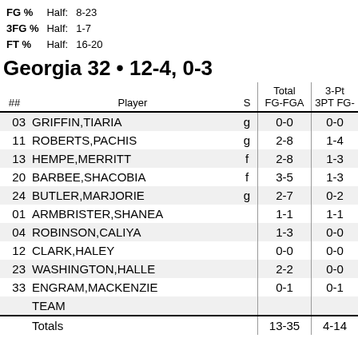FG %  Half: 8-23
3FG %  Half: 1-7
FT %  Half: 16-20
Georgia 32 • 12-4, 0-3
| ## | Player | S | Total FG-FGA | 3-Pt 3PT FG- |
| --- | --- | --- | --- | --- |
| 03 | GRIFFIN,TIARIA | g | 0-0 | 0-0 |
| 11 | ROBERTS,PACHIS | g | 2-8 | 1-4 |
| 13 | HEMPE,MERRITT | f | 2-8 | 1-3 |
| 20 | BARBEE,SHACOBIA | f | 3-5 | 1-3 |
| 24 | BUTLER,MARJORIE | g | 2-7 | 0-2 |
| 01 | ARMBRISTER,SHANEA |  | 1-1 | 1-1 |
| 04 | ROBINSON,CALIYA |  | 1-3 | 0-0 |
| 12 | CLARK,HALEY |  | 0-0 | 0-0 |
| 23 | WASHINGTON,HALLE |  | 2-2 | 0-0 |
| 33 | ENGRAM,MACKENZIE |  | 0-1 | 0-1 |
|  | TEAM |  |  |  |
|  | Totals |  | 13-35 | 4-14 |